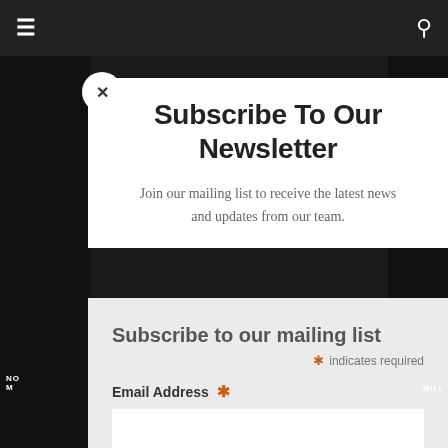≡  🔍
Subscribe To Our Newsletter
Join our mailing list to receive the latest news and updates from our team.
Subscribe to our mailing list
* indicates required
Email Address *